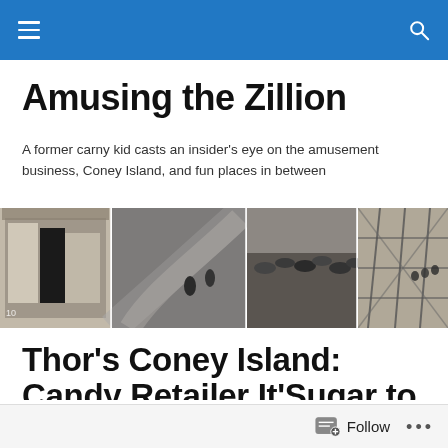Amusing the Zillion — navigation bar
Amusing the Zillion
A former carny kid casts an insider's eye on the amusement business, Coney Island, and fun places in between
[Figure (photo): A horizontal strip of four black-and-white historical photographs of amusement park scenes including people at a carnival, a curved road, a crowd of people in hats, and a roller coaster structure.]
Thor's Coney Island: Candy Retailer It'Sugar to Open Surf Ave Store
Follow